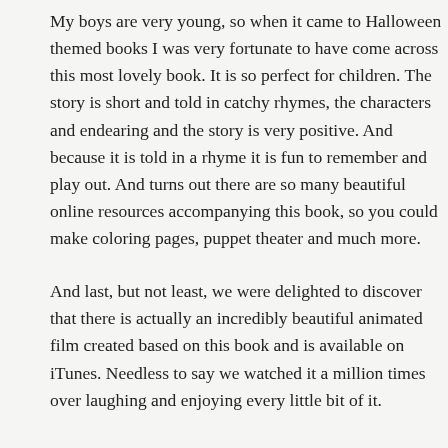My boys are very young, so when it came to Halloween themed books I was very fortunate to have come across this most lovely book. It is so perfect for children. The story is short and told in catchy rhymes, the characters and endearing and the story is very positive. And because it is told in a rhyme it is fun to remember and play out. And turns out there are so many beautiful online resources accompanying this book, so you could make coloring pages, puppet theater and much more.
And last, but not least, we were delighted to discover that there is actually an incredibly beautiful animated film created based on this book and is available on iTunes. Needless to say we watched it a million times over laughing and enjoying every little bit of it.